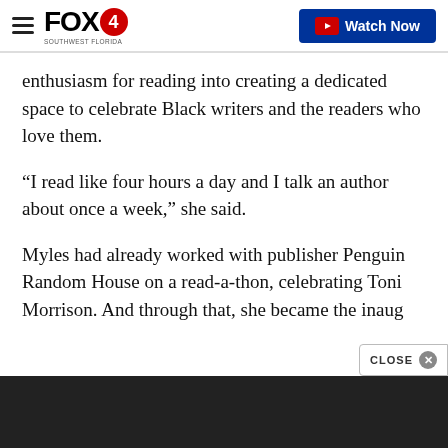FOX4 | Watch Now
enthusiasm for reading into creating a dedicated space to celebrate Black writers and the readers who love them.
“I read like four hours a day and I talk an author about once a week,” she said.
Myles had already worked with publisher Penguin Random House on a read-a-thon, celebrating Toni Morrison. And through that, she became the inaug